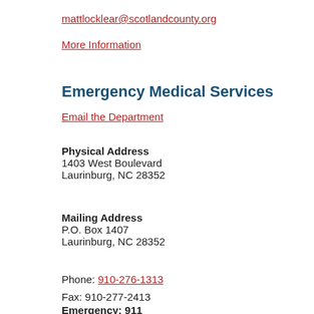mattlocklear@scotlandcounty.org
More Information
Emergency Medical Services
Email the Department
Physical Address
1403 West Boulevard
Laurinburg, NC 28352
Mailing Address
P.O. Box 1407
Laurinburg, NC 28352
Phone: 910-276-1313
Fax: 910-277-2413
Emergency: 911